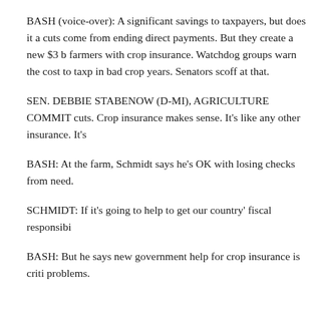BASH (voice-over): A significant savings to taxpayers, but does it a cuts come from ending direct payments. But they create a new $3 b farmers with crop insurance. Watchdog groups warn the cost to taxp in bad crop years. Senators scoff at that.
SEN. DEBBIE STABENOW (D-MI), AGRICULTURE COMMIT cuts. Crop insurance makes sense. It's like any other insurance. It's
BASH: At the farm, Schmidt says he's OK with losing checks from need.
SCHMIDT: If it's going to help to get our country' fiscal responsibi
BASH: But he says new government help for crop insurance is criti problems.